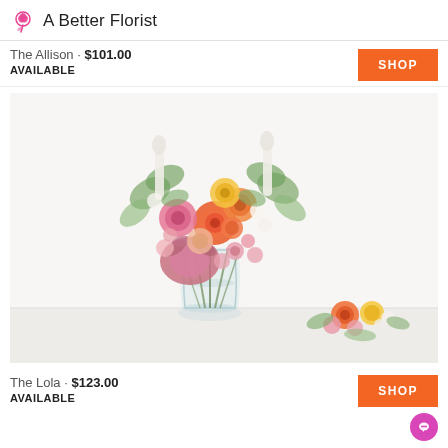A Better Florist
The Allison · $101.00
AVAILABLE
[Figure (photo): A floral arrangement in a clear glass vase featuring orange, pink, peach, and white flowers including ranunculus, protea, spray roses, snapdragons, and eucalyptus. A small cluster of loose roses and flowers sits beside the vase on a white surface.]
The Lola · $123.00
AVAILABLE